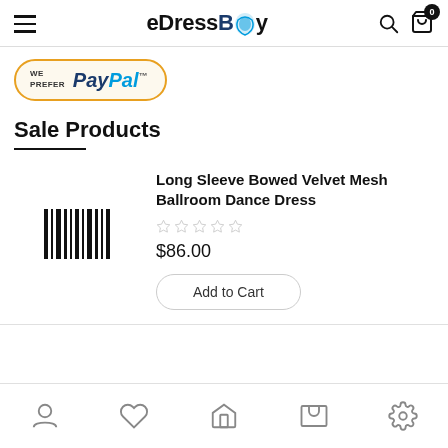eDressBay
[Figure (logo): PayPal We Prefer badge with gold border on cream background]
Sale Products
[Figure (illustration): Placeholder barcode/image icon for product]
Long Sleeve Bowed Velvet Mesh Ballroom Dance Dress
$86.00
Add to Cart
Bottom navigation bar with user, wishlist, home, cart, and settings icons